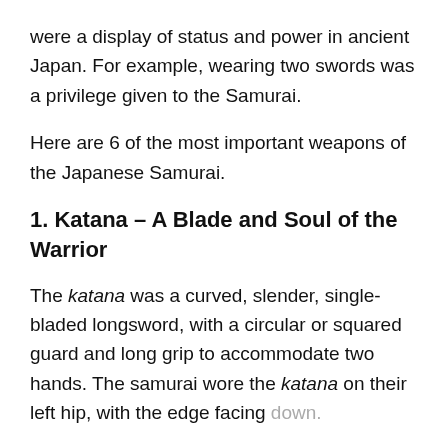were a display of status and power in ancient Japan. For example, wearing two swords was a privilege given to the Samurai.
Here are 6 of the most important weapons of the Japanese Samurai.
1. Katana – A Blade and Soul of the Warrior
The katana was a curved, slender, single-bladed longsword, with a circular or squared guard and long grip to accommodate two hands. The samurai wore the katana on their left hip, with the edge facing down.